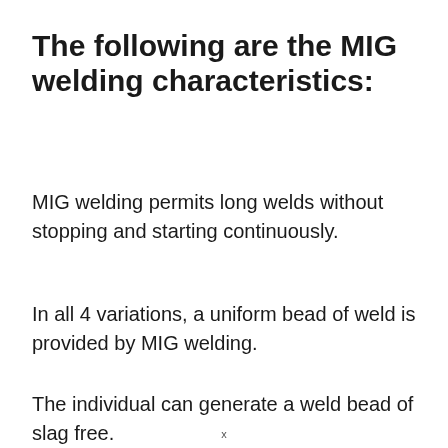The following are the MIG welding characteristics:
MIG welding permits long welds without stopping and starting continuously.
In all 4 variations, a uniform bead of weld is provided by MIG welding.
The individual can generate a weld bead of slag free.
x